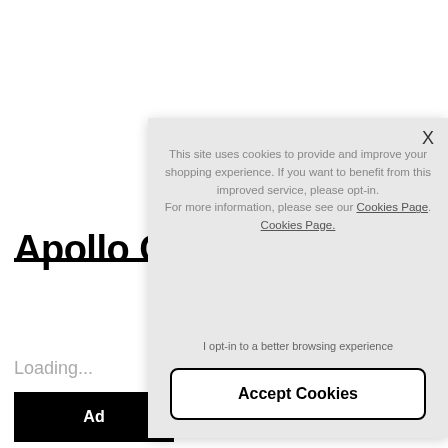Apollo Cy
Loading...
Ad
[Figure (screenshot): Cookie consent overlay dialog on a website. Contains close button (X), cookie usage text, opt-in link text, and Accept Cookies button.]
This site uses cookies to provide and improve your shopping experience. If you want to benefit from this improved service, please opt-in. For more information, please see our Cookies Page. Cookies Page.
I opt-in to a better browsing experience
Accept Cookies